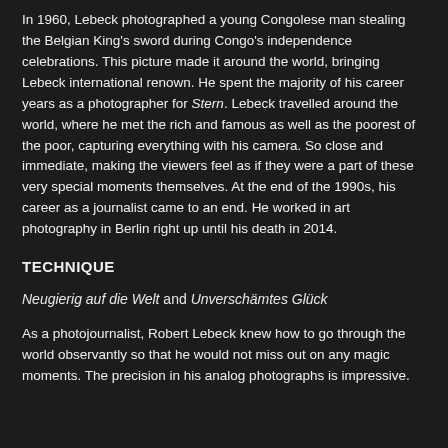In 1960, Lebeck photographed a young Congolese man stealing the Belgian King's sword during Congo's independence celebrations. This picture made it around the world, bringing Lebeck international renown. He spent the majority of his career years as a photographer for Stern. Lebeck travelled around the world, where he met the rich and famous as well as the poorest of the poor, capturing everything with his camera. So close and immediate, making the viewers feel as if they were a part of these very special moments themselves. At the end of the 1990s, his career as a journalist came to an end. He worked in art photography in Berlin right up until his death in 2014.
TECHNIQUE
Neugierig auf die Welt and Unverschämtes Glück
As a photojournalist, Robert Lebeck knew how to go through the world observantly so that he would not miss out on any magic moments. The precision in his analog photographs is impressive.